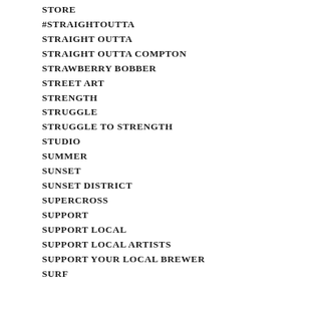STORE
#STRAIGHTOUTTA
STRAIGHT OUTTA
STRAIGHT OUTTA COMPTON
STRAWBERRY BOBBER
STREET ART
STRENGTH
STRUGGLE
STRUGGLE TO STRENGTH
STUDIO
SUMMER
SUNSET
SUNSET DISTRICT
SUPERCROSS
SUPPORT
SUPPORT LOCAL
SUPPORT LOCAL ARTISTS
SUPPORT YOUR LOCAL BREWER
SURF